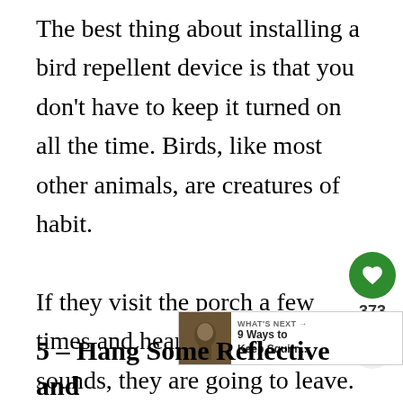The best thing about installing a bird repellent device is that you don't have to keep it turned on all the time. Birds, like most other animals, are creatures of habit.

If they visit the porch a few times and hear these annoying sounds, they are going to leave. You won't find them returning to the place again and again
5 – Hang Some Reflective and